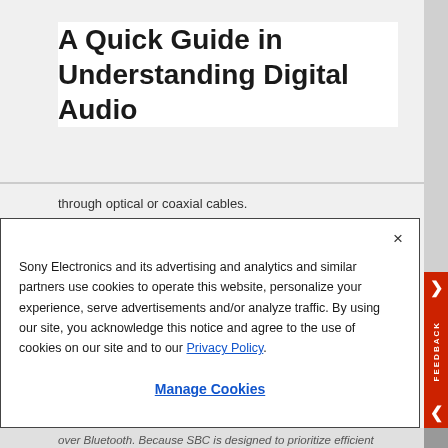A Quick Guide in Understanding Digital Audio
through optical or coaxial cables.
[Figure (screenshot): Cookie consent modal popup on Sony Electronics website with close button (×), body text about cookies and privacy policy link, and Manage Cookies button. Red feedback bar visible on right side.]
over Bluetooth. Because SBC is designed to prioritize efficient